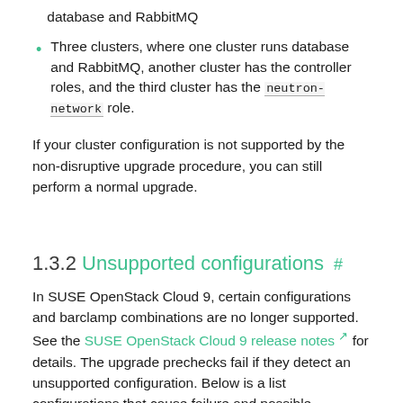database and RabbitMQ
Three clusters, where one cluster runs database and RabbitMQ, another cluster has the controller roles, and the third cluster has the neutron-network role.
If your cluster configuration is not supported by the non-disruptive upgrade procedure, you can still perform a normal upgrade.
1.3.2 Unsupported configurations #
In SUSE OpenStack Cloud 9, certain configurations and barclamp combinations are no longer supported. See the SUSE OpenStack Cloud 9 release notes for details. The upgrade prechecks fail if they detect an unsupported configuration. Below is a list configurations that cause failure and possible